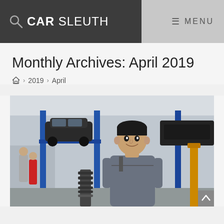CAR SLEUTH   MENU
Monthly Archives: April 2019
Home > 2019 > April
[Figure (photo): A smiling male mechanic in a grey uniform stands in an auto repair shop, with cars on lifts visible in the background]